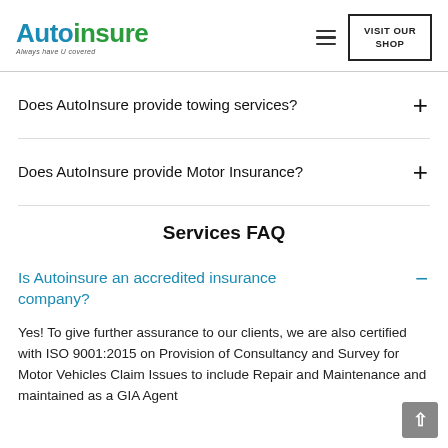[Figure (logo): AutoInsure logo with tagline 'Always have U covered']
VISIT OUR SHOP
Does AutoInsure provide towing services?
Does AutoInsure provide Motor Insurance?
Services FAQ
Is Autoinsure an accredited insurance company?
Yes! To give further assurance to our clients, we are also certified with ISO 9001:2015 on Provision of Consultancy and Survey for Motor Vehicles Claim Issues to include Repair and Maintenance and maintained as a GIA Agent